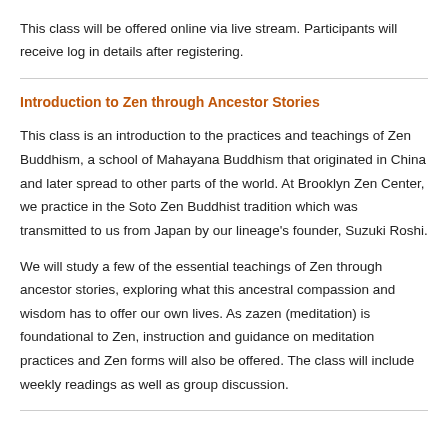This class will be offered online via live stream. Participants will receive log in details after registering.
Introduction to Zen through Ancestor Stories
This class is an introduction to the practices and teachings of Zen Buddhism, a school of Mahayana Buddhism that originated in China and later spread to other parts of the world. At Brooklyn Zen Center, we practice in the Soto Zen Buddhist tradition which was transmitted to us from Japan by our lineage's founder, Suzuki Roshi.
We will study a few of the essential teachings of Zen through ancestor stories, exploring what this ancestral compassion and wisdom has to offer our own lives. As zazen (meditation) is foundational to Zen, instruction and guidance on meditation practices and Zen forms will also be offered. The class will include weekly readings as well as group discussion.